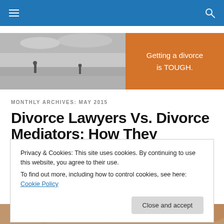Navigation bar with hamburger menu and search icon
[Figure (photo): Website header banner: left side shows a black-and-white photo of two people standing apart on a waterfront promenade under a cloudy sky; right side is an orange box with text 'Getting a divorce is TOUGH.']
Getting a divorce is TOUGH.
MONTHLY ARCHIVES: MAY 2015
Divorce Lawyers Vs. Divorce Mediators: How They
Privacy & Cookies: This site uses cookies. By continuing to use this website, you agree to their use.
To find out more, including how to control cookies, see here: Cookie Policy
Close and accept